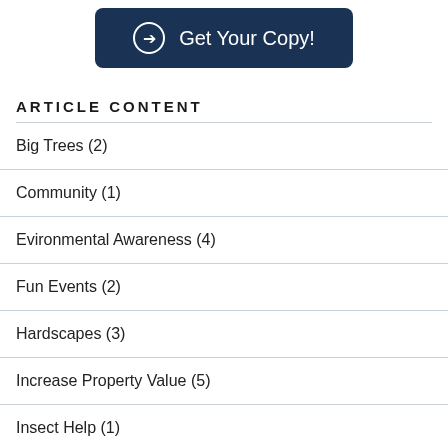[Figure (other): Dark navy blue button with right-arrow circle icon and text 'Get Your Copy!']
ARTICLE CONTENT
Big Trees (2)
Community (1)
Evironmental Awareness (4)
Fun Events (2)
Hardscapes (3)
Increase Property Value (5)
Insect Help (1)